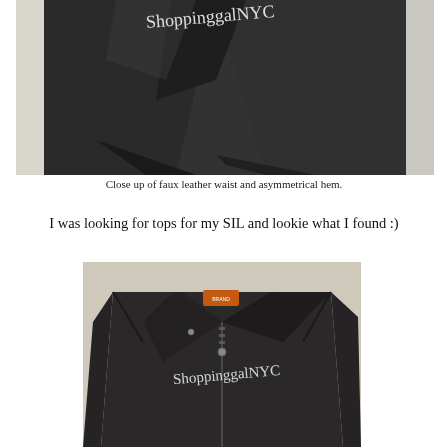[Figure (photo): Close-up photo of dark charcoal fabric skirt with faux leather waist and asymmetrical hem, watermark ShoppinggalNYC visible at top]
Close up of faux leather waist and asymmetrical hem.
I was looking for tops for my SIL and lookie what I found :)
[Figure (photo): Photo of a dark black faux leather moto jacket laid flat, with orange label at collar and ShoppinggalNYC watermark text overlaid]